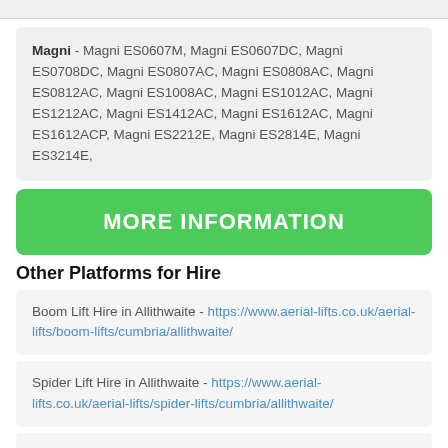Magni - Magni ES0607M, Magni ES0607DC, Magni ES0708DC, Magni ES0807AC, Magni ES0808AC, Magni ES0812AC, Magni ES1008AC, Magni ES1012AC, Magni ES1212AC, Magni ES1412AC, Magni ES1612AC, Magni ES1612ACP, Magni ES2212E, Magni ES2814E, Magni ES3214E,
MORE INFORMATION
Other Platforms for Hire
Boom Lift Hire in Allithwaite - https://www.aerial-lifts.co.uk/aerial-lifts/boom-lifts/cumbria/allithwaite/
Spider Lift Hire in Allithwaite - https://www.aerial-lifts.co.uk/aerial-lifts/spider-lifts/cumbria/allithwaite/
Telehandler Hire in Allithwaite - https://www.aerial-